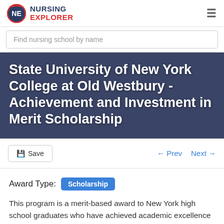NURSING EXPLORER
Find nursing school by name
State University of New York College at Old Westbury - Achievement and Investment in Merit Scholarship
Save   ← Prev   Next →
Award Type: Scholarship
This program is a merit-based award to New York high school graduates who have achieved academic excellence as a high school student and who enroll or plan to enroll in a public or